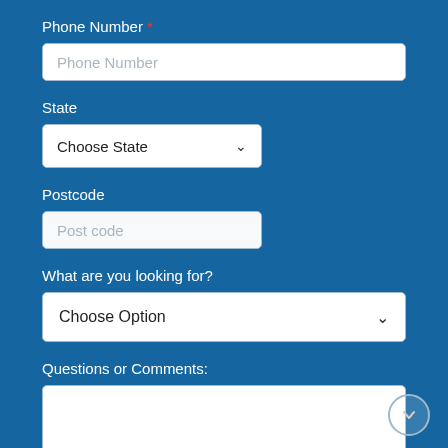Phone Number *
Phone Number
State
Choose State
Postcode
Post code
What are you looking for?
Choose Option
Questions or Comments: